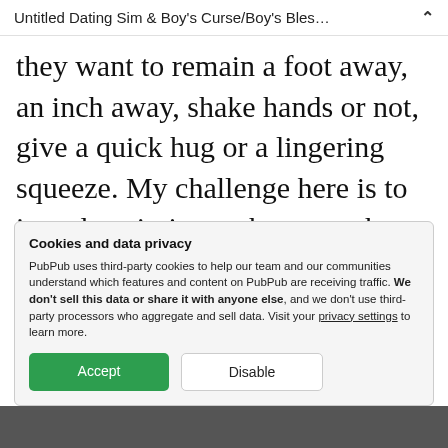Untitled Dating Sim & Boy's Curse/Boy's Bles…
they want to remain a foot away, an inch away, shake hands or not, give a quick hug or a lingering squeeze. My challenge here is to introduce intimacy between the player and the digital avatar version of myself.
Cookies and data privacy
PubPub uses third-party cookies to help our team and our communities understand which features and content on PubPub are receiving traffic. We don't sell this data or share it with anyone else, and we don't use third-party processors who aggregate and sell data. Visit your privacy settings to learn more.